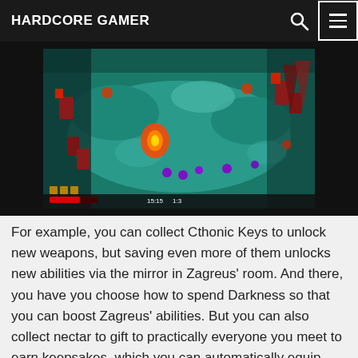HARDCORE GAMER
[Figure (screenshot): Top-down action RPG screenshot showing a green/teal dungeon environment with fantasy monsters, red character sprites, purple orbs, and UI elements at the bottom including health bar and timer showing 15:15 and 1:3]
For example, you can collect Cthonic Keys to unlock new weapons, but saving even more of them unlocks new abilities via the mirror in Zagreus' room. And there, you have you choose how to spend Darkness so that you can boost Zagreus' abilities. But you can also collect nectar to gift to practically everyone you meet to earn keepsakes, which you can automatically equip before a run for more buffs. Or you